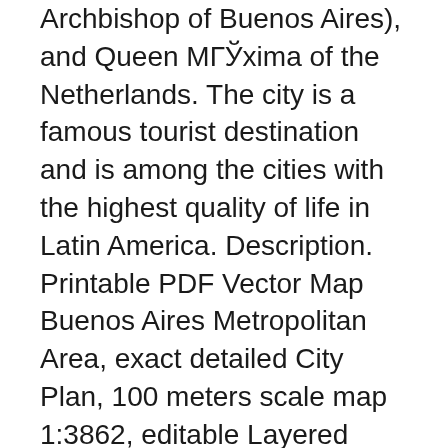Archbishop of Buenos Aires), and Queen МГЎxima of the Netherlands. The city is a famous tourist destination and is among the cities with the highest quality of life in Latin America. Description. Printable PDF Vector Map Buenos Aires Metropolitan Area, exact detailed City Plan, 100 meters scale map 1:3862, editable Layered Adobe PDF, 41 Mb ZIP.
Descarga gratis unos mapas vectoriales de la ciudad de Buenos Aires, y algunos de sus barrios, como Palermo, San Telmo y La Boca. Disponibles en PDF. Moovit tiene un mapa de Mapa de Metrobus Sur fГЎcil de descargar, que sirve como tu mapa offline de Colectivo